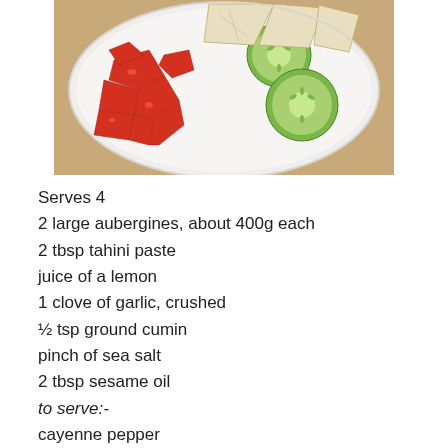[Figure (photo): A white plate with sliced red tomatoes, sliced cucumber rounds, and triangular pita bread pieces, on a wooden surface.]
Serves 4
2 large aubergines, about 400g each
2 tbsp tahini paste
juice of a lemon
1 clove of garlic, crushed
½ tsp ground cumin
pinch of sea salt
2 tbsp sesame oil
to serve:-
cayenne pepper